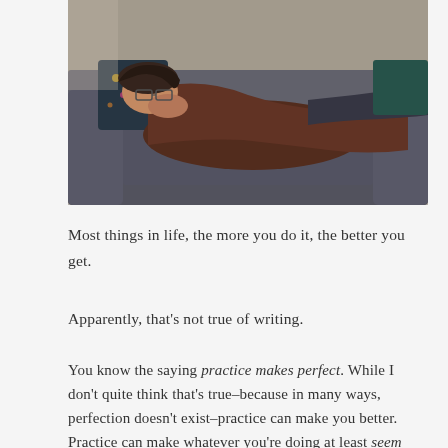[Figure (photo): A person lying on a dark gray sofa/couch, resting their head on their hands, wearing a brown long-sleeve top and glasses. There is a dark pillow with colorful dots near their head. The scene appears to be in a home setting with natural light.]
Most things in life, the more you do it, the better you get.
Apparently, that's not true of writing.
You know the saying practice makes perfect. While I don't quite think that's true–because in many ways, perfection doesn't exist–practice can make you better. Practice can make whatever you're doing at least seem easier.